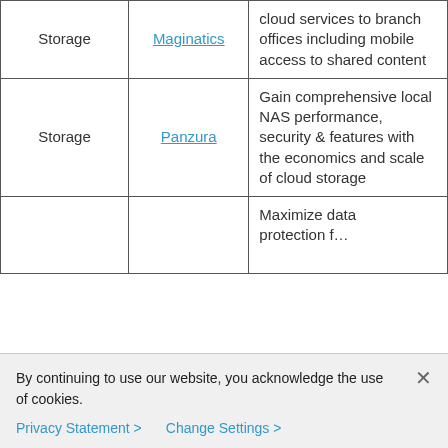| Category | Vendor | Description |
| --- | --- | --- |
| Storage | Maginatics | …deliver secure cloud services to branch offices including mobile access to shared content |
| Storage | Panzura | Gain comprehensive local NAS performance, security & features with the economics and scale of cloud storage |
| Storage |  | Maximize data protection f… |
By continuing to use our website, you acknowledge the use of cookies.
Privacy Statement > Change Settings >